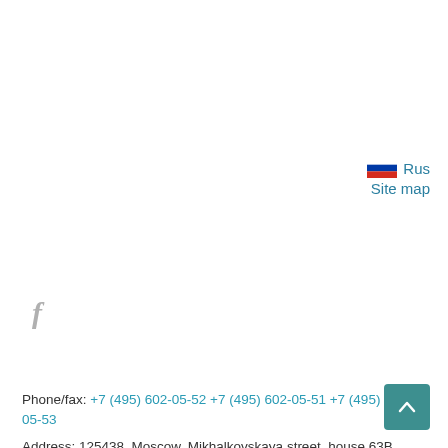[Figure (other): Russian flag icon followed by Rus language link]
Site map
[Figure (logo): Facebook f icon in grey]
Phone/fax: +7 (495) 602-05-52 +7 (495) 602-05-51 +7 (495) 602-05-53
Address: 125438, Moscow, Mikhalkovskaya street, house 63B, building 4, floor 6
Email: office@okvision.ru